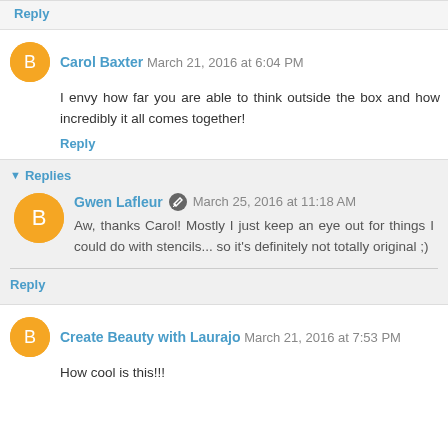Reply
Carol Baxter March 21, 2016 at 6:04 PM
I envy how far you are able to think outside the box and how incredibly it all comes together!
Reply
Replies
Gwen Lafleur March 25, 2016 at 11:18 AM
Aw, thanks Carol! Mostly I just keep an eye out for things I could do with stencils... so it's definitely not totally original ;)
Reply
Create Beauty with Laurajo March 21, 2016 at 7:53 PM
How cool is this!!!